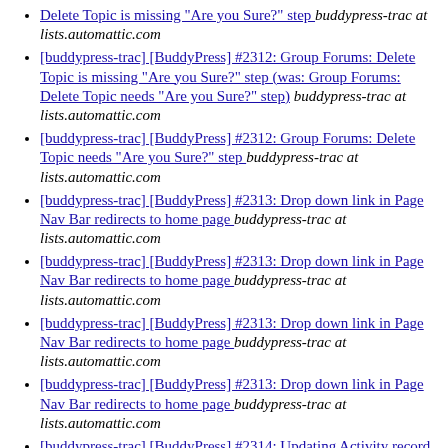Delete Topic is missing "Are you Sure?" step  buddypress-trac at lists.automattic.com
[buddypress-trac] [BuddyPress] #2312: Group Forums: Delete Topic is missing "Are you Sure?" step (was: Group Forums: Delete Topic needs "Are you Sure?" step)  buddypress-trac at lists.automattic.com
[buddypress-trac] [BuddyPress] #2312: Group Forums: Delete Topic needs "Are you Sure?" step  buddypress-trac at lists.automattic.com
[buddypress-trac] [BuddyPress] #2313: Drop down link in Page Nav Bar redirects to home page  buddypress-trac at lists.automattic.com
[buddypress-trac] [BuddyPress] #2313: Drop down link in Page Nav Bar redirects to home page  buddypress-trac at lists.automattic.com
[buddypress-trac] [BuddyPress] #2313: Drop down link in Page Nav Bar redirects to home page  buddypress-trac at lists.automattic.com
[buddypress-trac] [BuddyPress] #2313: Drop down link in Page Nav Bar redirects to home page  buddypress-trac at lists.automattic.com
[buddypress-trac] [BuddyPress] #2314: Updating Activity record via $activity->save() results in action overwritten  buddypress-trac at lists.automattic.com
[buddypress-trac] [BuddyPress] #2314: Updating Activity